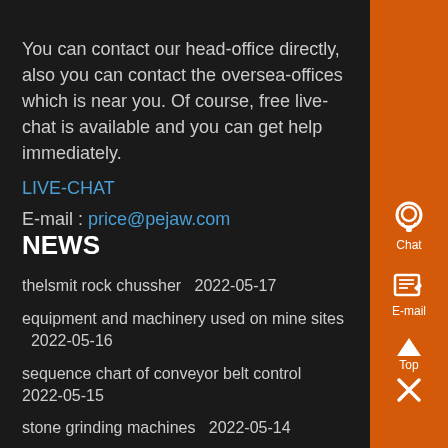You can contact our head-office directly, also you can contact the oversea-offices which is near you. Of course, free live-chat is available and you can get help immediately.
LIVE-CHAT
E-mail : price@pejaw.com
NEWS
thelsmit rock chussher  2022-05-17
equipment and machinery used on mine sites  2022-05-16
sequence chart of conveyor belt control  2022-05-15
stone grinding machines  2022-05-14
stone their roller mill machine  2022-05-13
design of machine elements objective type ques with answers  2022-05-12